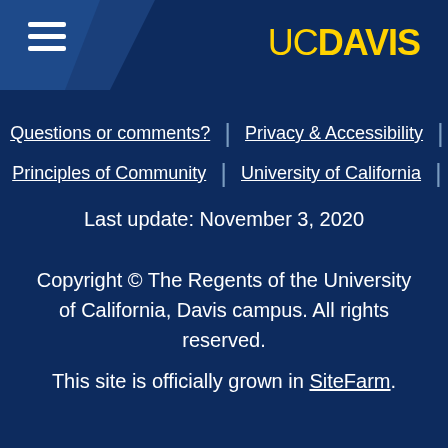UC DAVIS
Questions or comments? | Privacy & Accessibility | Principles of Community | University of California
Last update: November 3, 2020
Copyright © The Regents of the University of California, Davis campus. All rights reserved.
This site is officially grown in SiteFarm.